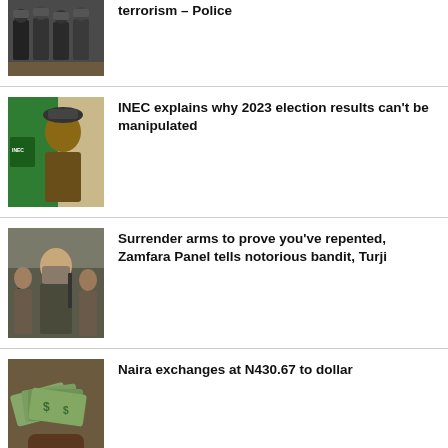[Figure (photo): Police/military officers in tactical gear]
terrorism – Police
[Figure (photo): Man in traditional cap near INEC banner]
INEC explains why 2023 election results can't be manipulated
[Figure (photo): Armed masked men, bandits scene]
Surrender arms to prove you've repented, Zamfara Panel tells notorious bandit, Turji
[Figure (photo): Hands holding US dollar banknotes]
Naira exchanges at N430.67 to dollar
[Figure (photo): Political figures, flags visible]
2023 Presidency: Tinubu meets Wike, 2